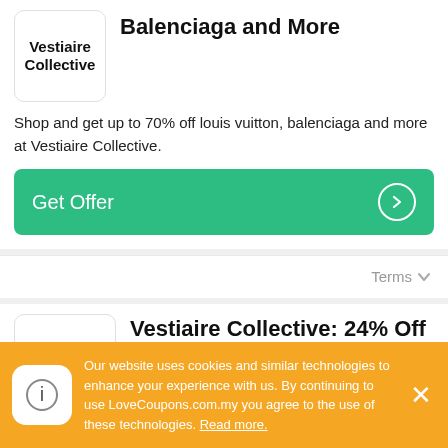[Figure (logo): Vestiaire Collective logo — black text on white rounded box, top partially cropped]
Balenciaga and More
Shop and get up to 70% off louis vuitton, balenciaga and more at Vestiaire Collective.
Get Offer →
Terms ∨
[Figure (logo): Vestiaire Collective logo — black bold text on white rounded box]
Vestiaire Collective: 24% Off Gucci Leather High Trainers Black
Shop and get 24% Off Gucci Leather High Trainers Black at Vestiaire
Our website uses cookies and similar technologies to enhance your experience with us. By continuing to use LoveCoupons.com.my you agree to the use of these technologies. Read more.